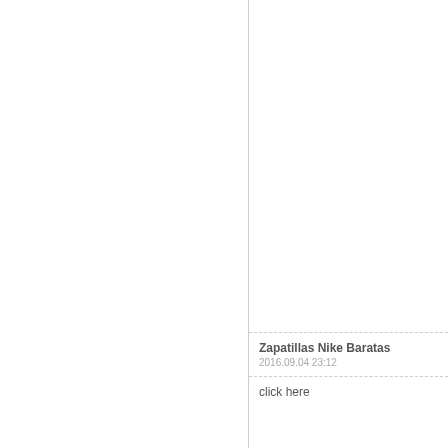Zapatillas Nike Baratas
2016.09.04 23:12
click here